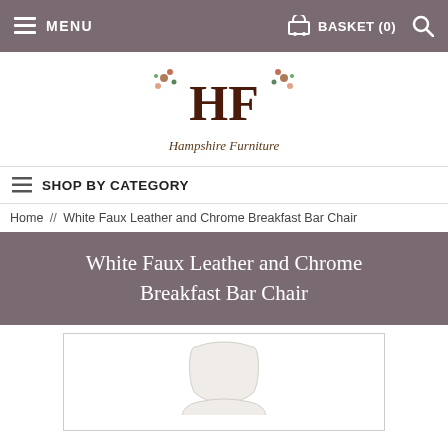MENU | BASKET (0)
[Figure (logo): Hampshire Furniture logo with stylized HF letters and floral decorations, italic tagline 'Hampshire Furniture']
SHOP BY CATEGORY
Home // White Faux Leather and Chrome Breakfast Bar Chair
White Faux Leather and Chrome Breakfast Bar Chair
[Figure (photo): White faux leather and chrome breakfast bar chair product photo, partial view showing seat back and seat]